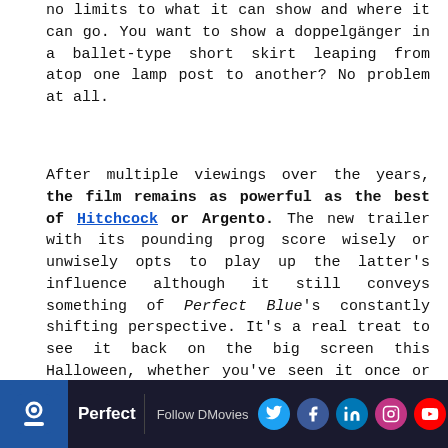no limits to what it can show and where it can go. You want to show a doppelgänger in a ballet-type short skirt leaping from atop one lamp post to another? No problem at all.
After multiple viewings over the years, the film remains as powerful as the best of Hitchcock or Argento. The new trailer with its pounding prog score wisely or unwisely opts to play up the latter's influence although it still conveys something of Perfect Blue's constantly shifting perspective. It's a real treat to see it back on the big screen this Halloween, whether you've seen it once or many times before or you're just jumping into its flow for the first time.
Perfect Blue is back out in the UK on 31st October 2017 with previews on the 27th. Watch the film trailer below:
[Figure (screenshot): Website footer bar showing Perfect Blue logo icon, title 'Perfect', Follow DMovies label, and social media icons for Twitter, Facebook, LinkedIn, Instagram, and YouTube on a dark background.]